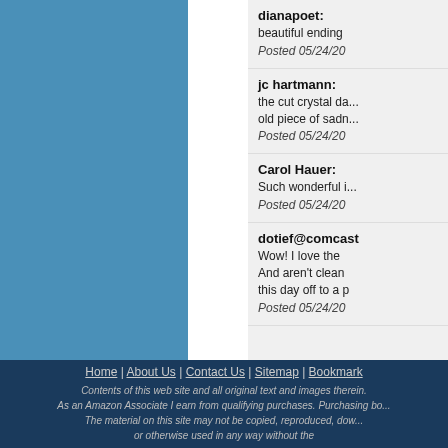dianapoet: beautiful ending
Posted 05/24/20
jc hartmann: the cut crystal da... old piece of sadn...
Posted 05/24/20
Carol Hauer: Such wonderful i...
Posted 05/24/20
dotief@comcast: Wow! I love the And aren't clean this day off to a p
Posted 05/24/20
Home | About Us | Contact Us | Sitemap | Bookmark
Contents of this web site and all original text and images therein. As an Amazon Associate I earn from qualifying purchases. Purchasing bo... The material on this site may not be copied, reproduced, dow... or otherwise used in any way without the